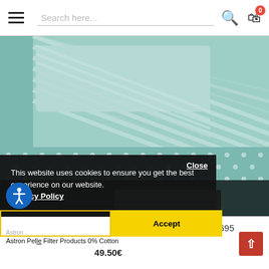Search here...
[Figure (photo): A teal/mint striped bedding set with pillow and dotted duvet cover, photographed from above at an angle. A dark semi-transparent overlay covers the lower portion of the image.]
Close
This website uses cookies to ensure you get the best experience on our website.
Privacy Policy
Preferences
Accept
Astron Pel Filter Products 0% Cotton
49.50€
3695